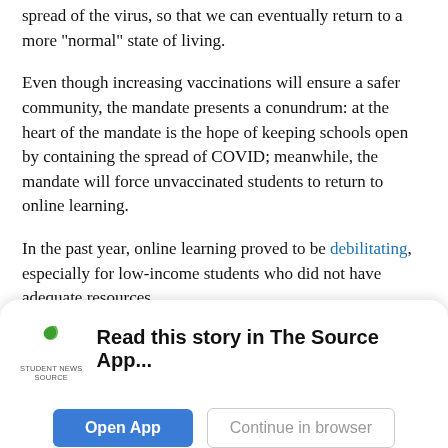spread of the virus, so that we can eventually return to a more “normal” state of living.
Even though increasing vaccinations will ensure a safer community, the mandate presents a conundrum: at the heart of the mandate is the hope of keeping schools open by containing the spread of COVID; meanwhile, the mandate will force unvaccinated students to return to online learning.
In the past year, online learning proved to be debilitating, especially for low-income students who did not have adequate resources.
While the mandate could potentially present challenges for lower-income students, it creates a safer environment for another vulnerable group--younger students that are not old enough to
[Figure (other): Student News Source app banner with logo, headline 'Read this story in The Source App...', and two buttons: 'Open App' and 'Continue in browser']